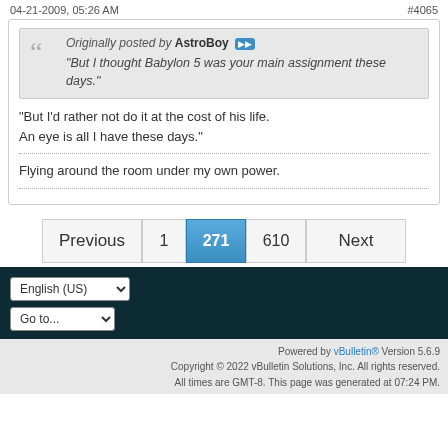04-21-2009, 05:26 AM  #4065
Originally posted by AstroBoy
"But I thought Babylon 5 was your main assignment these days."
"But I'd rather not do it at the cost of his life.
An eye is all I have these days."
Flying around the room under my own power.
Previous  1  271  610  Next
English (US)
Go to...
Powered by vBulletin® Version 5.6.9
Copyright © 2022 vBulletin Solutions, Inc. All rights reserved.
All times are GMT-8. This page was generated at 07:24 PM.